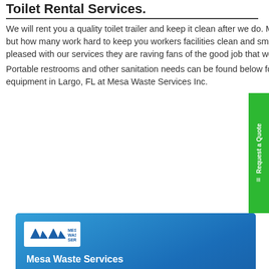Toilet Rental Services.
We will rent you a quality toilet trailer and keep it clean after we do. Many Portable restroom rental companies can rent you a toilet but how many work hard to keep you workers facilities clean and smelling good every week. Our toilet rental customers are not just pleased with our services they are raving fans of the good job that we do. Call or use our EZ Quote form today.
Portable restrooms and other sanitation needs can be found below for FL. Hire dependable portable toilet & shower rental equipment in Largo, FL at Mesa Waste Services Inc.
[Figure (infographic): Blue contact card for Mesa Waste Services with logo, phone number 1-877-279-5725, servicing all of, EZ Quote Request button, and green phone icon]
Mesa Waste Services
For immediate rate quote Call 1-877-279-5725 .
Servicing all of
EZ Quote Request